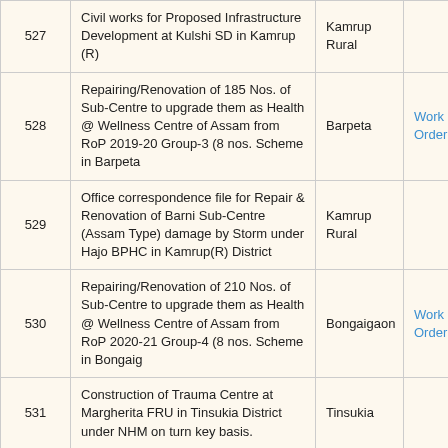| # | Description | District | Link |  |
| --- | --- | --- | --- | --- |
| 527 | Civil works for Proposed Infrastructure Development at Kulshi SD in Kamrup (R) | Kamrup Rural |  |  |
| 528 | Repairing/Renovation of 185 Nos. of Sub-Centre to upgrade them as Health @ Wellness Centre of Assam from RoP 2019-20 Group-3 (8 nos. Scheme in Barpeta | Barpeta | Work Order |  |
| 529 | Office correspondence file for Repair & Renovation of Barni Sub-Centre (Assam Type) damage by Storm under Hajo BPHC in Kamrup(R) District | Kamrup Rural |  |  |
| 530 | Repairing/Renovation of 210 Nos. of Sub-Centre to upgrade them as Health @ Wellness Centre of Assam from RoP 2020-21 Group-4 (8 nos. Scheme in Bongaig | Bongaigaon | Work Order |  |
| 531 | Construction of Trauma Centre at Margherita FRU in Tinsukia District under NHM on turn key basis. | Tinsukia |  |  |
| 532 | Repairing/Renovation of 210 Nos. of Sub-Centre to upgrade them as Health @ Wellness Centre of A... | Bongaigaon | Work Order |  |